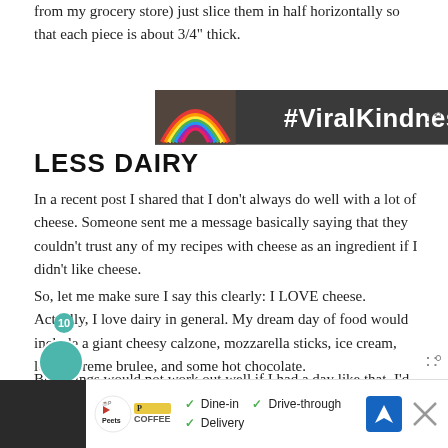from my grocery store) just slice them in half horizontally so that each piece is about 3/4" thick.
[Figure (illustration): Advertisement banner with dark background showing a chalk-drawn rainbow on asphalt and text '#ViralKindness' in white bold font, with close button]
LESS DAIRY
In a recent post I shared that I don't always do well with a lot of cheese. Someone sent me a message basically saying that they couldn't trust any of my recipes with cheese as an ingredient if I didn't like cheese.
So, let me make sure I say this clearly: I LOVE cheese. Actually, I love dairy in general. My dream day of food would include a giant cheesy calzone, mozzarella sticks, ice cream, lots of creme brulee, and some hot chocolate.
But, things would not work out well if I had a day like that. I'd probably spend the next few days laying on the couch whining about how badly my
[Figure (screenshot): Bottom advertisement bar for Peet's Coffee showing dine-in, drive-through, and delivery options with navigation icon]